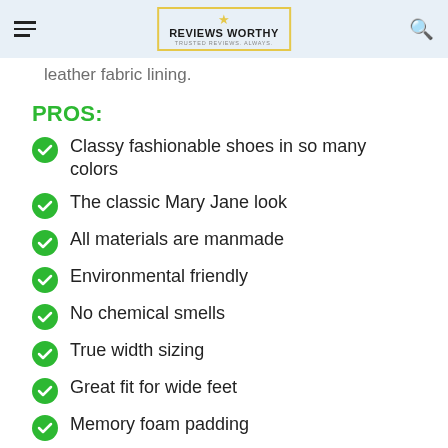Reviews Worthy — Trusted Reviews. Always.
leather fabric lining.
PROS:
Classy fashionable shoes in so many colors
The classic Mary Jane look
All materials are manmade
Environmental friendly
No chemical smells
True width sizing
Great fit for wide feet
Memory foam padding